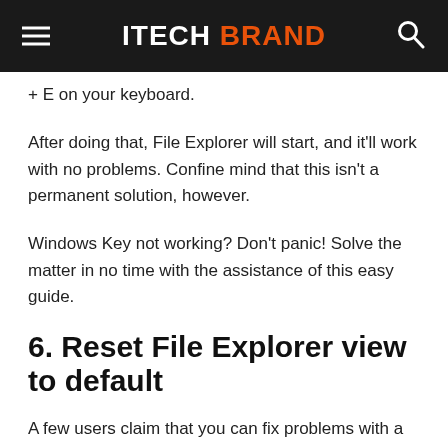ITECH BRAND
+ E on your keyboard.
After doing that, File Explorer will start, and it'll work with no problems. Confine mind that this isn't a permanent solution, however.
Windows Key not working? Don't panic! Solve the matter in no time with the assistance of this easy guide.
6. Reset File Explorer view to default
A few users claim that you can fix problems with a slow File Explorer by resetting File Explorer's view to default. This is often relatively simple, and you'll roll in the hay by following these steps: